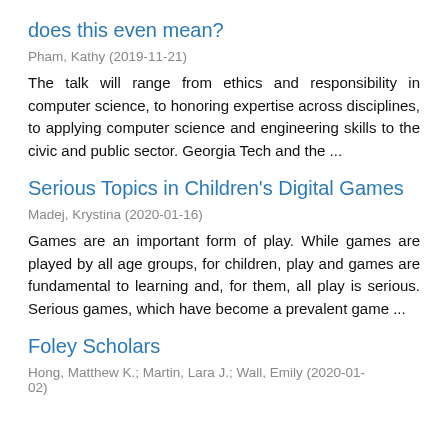does this even mean?
Pham, Kathy (2019-11-21)
The talk will range from ethics and responsibility in computer science, to honoring expertise across disciplines, to applying computer science and engineering skills to the civic and public sector. Georgia Tech and the ...
Serious Topics in Children's Digital Games
Madej, Krystina (2020-01-16)
Games are an important form of play. While games are played by all age groups, for children, play and games are fundamental to learning and, for them, all play is serious. Serious games, which have become a prevalent game ...
Foley Scholars
Hong, Matthew K.; Martin, Lara J.; Wall, Emily (2020-01-02)